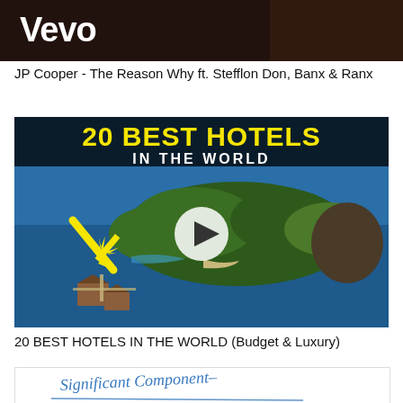[Figure (screenshot): Vevo music video thumbnail showing dark background with Vevo logo in white text]
JP Cooper - The Reason Why ft. Stefflon Don, Banx & Ranx
[Figure (screenshot): YouTube video thumbnail titled '20 BEST HOTELS IN THE WORLD' showing aerial view of tropical island with overwater bungalows, yellow arrow pointing to bungalows, and circular play button in center]
20 BEST HOTELS IN THE WORLD (Budget & Luxury)
[Figure (photo): Partial view of handwritten text reading 'Significant Component' with blue ink on white paper]